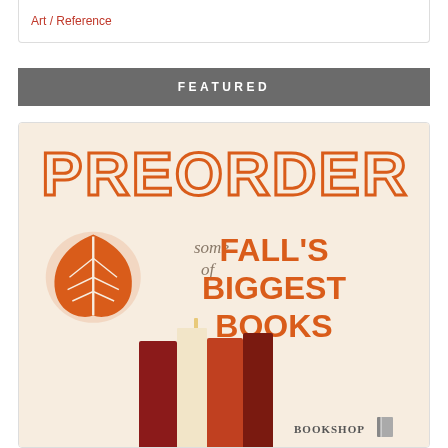Art / Reference
FEATURED
[Figure (illustration): Promotional bookshop graphic with large text 'PREORDER some of FALL'S BIGGEST BOOKS' with autumn leaf illustration and stacked books showing September, October, November spines, with Bookshop logo at bottom right, on a cream background.]